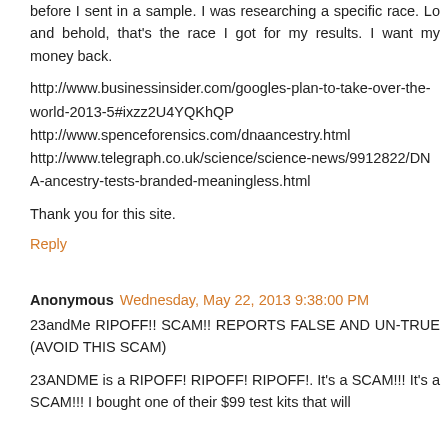before I sent in a sample. I was researching a specific race. Lo and behold, that's the race I got for my results. I want my money back.
http://www.businessinsider.com/googles-plan-to-take-over-the-world-2013-5#ixzz2U4YQKhQP
http://www.spenceforensics.com/dnaancestry.html
http://www.telegraph.co.uk/science/science-news/9912822/DNA-ancestry-tests-branded-meaningless.html
Thank you for this site.
Reply
Anonymous  Wednesday, May 22, 2013 9:38:00 PM
23andMe RIPOFF!! SCAM!! REPORTS FALSE AND UNTRUE (AVOID THIS SCAM)
23ANDME is a RIPOFF! RIPOFF! RIPOFF!. It's a SCAM!!! It's a SCAM!!! I bought one of their $99 test kits that will